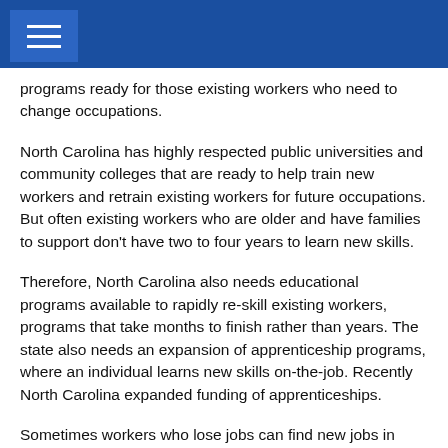programs ready for those existing workers who need to change occupations.
North Carolina has highly respected public universities and community colleges that are ready to help train new workers and retrain existing workers for future occupations. But often existing workers who are older and have families to support don't have two to four years to learn new skills.
Therefore, North Carolina also needs educational programs available to rapidly re-skill existing workers, programs that take months to finish rather than years. The state also needs an expansion of apprenticeship programs, where an individual learns new skills on-the-job. Recently North Carolina expanded funding of apprenticeships.
Sometimes workers who lose jobs can find new jobs in other regions of the state, but they don't have the funds to relocate. The state could consider establishment of a "relocation fun" for workers who have found jobs in other